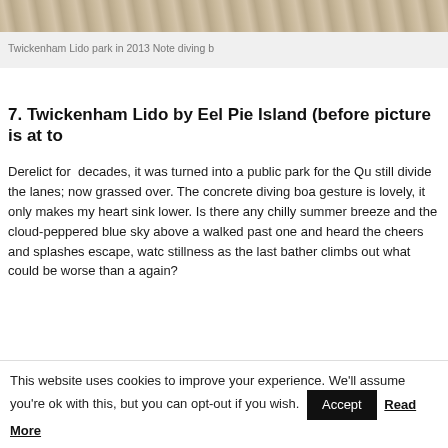[Figure (photo): Partial view of Twickenham Lido park wooden/tiled surface, cropped at top of page]
Twickenham Lido park in 2013 Note diving b
7. Twickenham Lido by Eel Pie Island (before picture is at to
Derelict for decades, it was turned into a public park for the Qu still divide the lanes; now grassed over. The concrete diving boa gesture is lovely, it only makes my heart sink lower. Is there any chilly summer breeze and the cloud-peppered blue sky above a walked past one and heard the cheers and splashes escape, watc stillness as the last bather climbs out what could be worse than a again?
This website uses cookies to improve your experience. We'll assume you're ok with this, but you can opt-out if you wish.
Accept
Read More